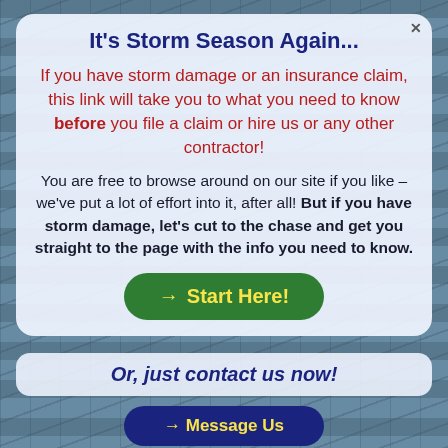It's Storm Season Again...
If you have storm damage or an insurance claim, this link will take you to what you need to know before you file a claim or hire us or any other contractor!
You are free to browse around on our site if you like – we've put a lot of effort into it, after all! But if you have storm damage, let's cut to the chase and get you straight to the page with the info you need to know.
→ Start Here!
Or, just contact us now!
→ Message Us